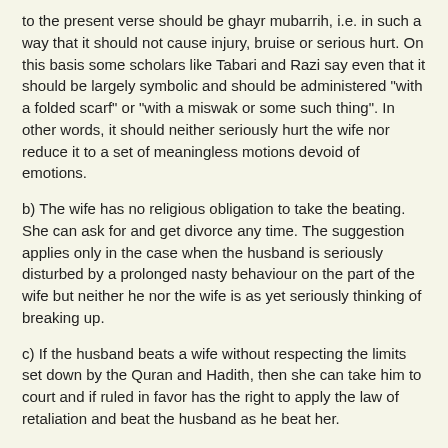to the present verse should be ghayr mubarrih, i.e. in such a way that it should not cause injury, bruise or serious hurt. On this basis some scholars like Tabari and Razi say even that it should be largely symbolic and should be administered "with a folded scarf" or "with a miswak or some such thing". In other words, it should neither seriously hurt the wife nor reduce it to a set of meaningless motions devoid of emotions.
b) The wife has no religious obligation to take the beating. She can ask for and get divorce any time. The suggestion applies only in the case when the husband is seriously disturbed by a prolonged nasty behaviour on the part of the wife but neither he nor the wife is as yet seriously thinking of breaking up.
c) If the husband beats a wife without respecting the limits set down by the Quran and Hadith, then she can take him to court and if ruled in favor has the right to apply the law of retaliation and beat the husband as he beat her.
January 24, 2011 at 5:39 AM